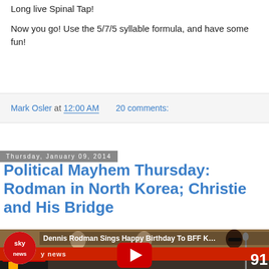Long live Spinal Tap!
Now you go!  Use the 5/7/5 syllable formula, and have some fun!
Mark Osler at 12:00 AM  20 comments:
Thursday, January 09, 2014
Political Mayhem Thursday: Rodman in North Korea; Christie and His Bridge
[Figure (screenshot): YouTube video thumbnail showing Dennis Rodman singing Happy Birthday to BFF K... with Sky News logo overlay and people in background at what appears to be a basketball venue in North Korea]